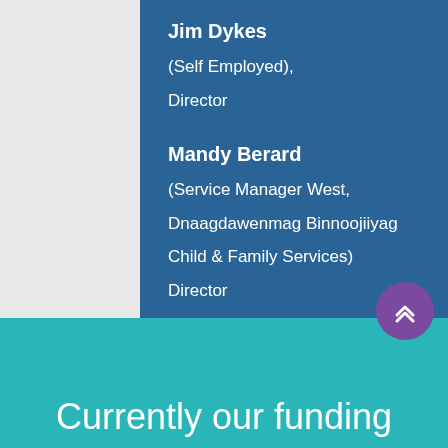Jim Dykes
(Self Employed), Director
Mandy Berard
(Service Manager West, Dnaagdawenmag Binnoojiiyag Child & Family Services) Director
Currently our funding